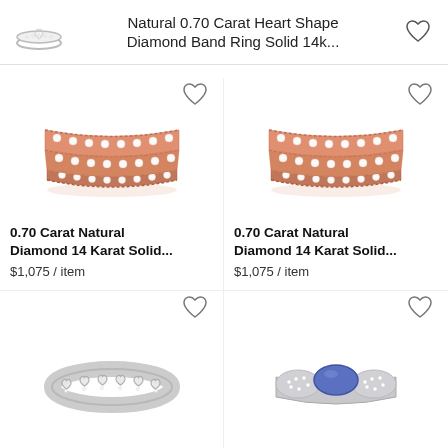[Figure (photo): Small silver heart-shaped diamond ring thumbnail in header]
Natural 0.70 Carat Heart Shape Diamond Band Ring Solid 14k...
[Figure (illustration): Heart/wishlist icon in header top right]
[Figure (photo): Rose gold diamond eternity band ring with two rows of diamonds and milgrain edges]
[Figure (illustration): Heart/wishlist icon top left of first product]
0.70 Carat Natural Diamond 14 Karat Solid...
$1,075 / item
[Figure (photo): Rose gold diamond eternity band ring with two rows of diamonds and milgrain edges, second listing]
[Figure (illustration): Heart/wishlist icon top right of second product]
0.70 Carat Natural Diamond 14 Karat Solid...
$1,075 / item
[Figure (photo): White gold diamond heart-shaped eternity band ring]
[Figure (illustration): Heart/wishlist icon top left of third product]
[Figure (photo): White gold ring with blue oval sapphire center stone and diamond pave sides]
[Figure (illustration): Heart/wishlist icon top right of fourth product]